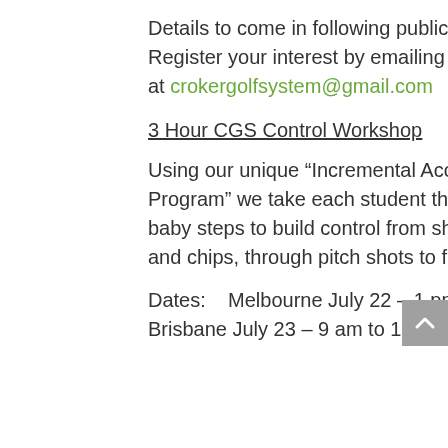Details to come in following publications. Register your interest by emailing us at crokergolfsystem@gmail.com
3 Hour CGS Control Workshop
Using our unique “Incremental Accuracy Program” we take each student through the baby steps to build control from short putts and chips, through pitch shots to full swing.
Dates:    Melbourne July 22 – 1 pm to 4 pm,
Brisbane July 23 – 9 am to 12 noon